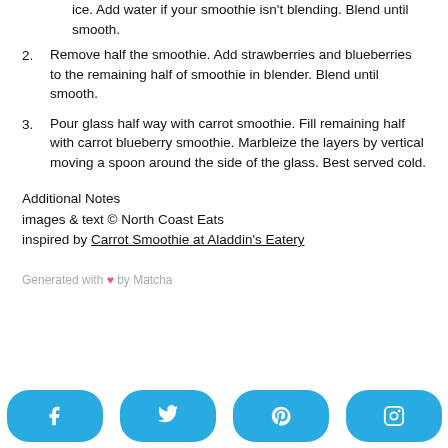ice. Add water if your smoothie isn't blending. Blend until smooth.
2. Remove half the smoothie. Add strawberries and blueberries to the remaining half of smoothie in blender. Blend until smooth.
3. Pour glass half way with carrot smoothie. Fill remaining half with carrot blueberry smoothie. Marbleize the layers by vertical moving a spoon around the side of the glass. Best served cold.
Additional Notes
images & text © North Coast Eats
inspired by Carrot Smoothie at Aladdin's Eatery
Generated with ♥ by Matcha
[Figure (infographic): Social media sharing buttons: Facebook, Twitter, Pinterest, Instagram]